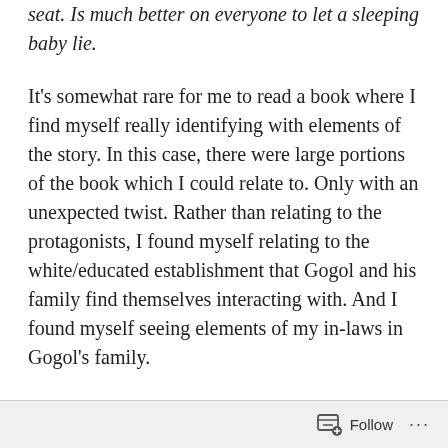seat. Is much better on everyone to let a sleeping baby lie.
It's somewhat rare for me to read a book where I find myself really identifying with elements of the story. In this case, there were large portions of the book which I could relate to. Only with an unexpected twist. Rather than relating to the protagonists, I found myself relating to the white/educated establishment that Gogol and his family find themselves interacting with. And I found myself seeing elements of my in-laws in Gogol's family.
My wife agrees with my reaction. As a result,
Follow